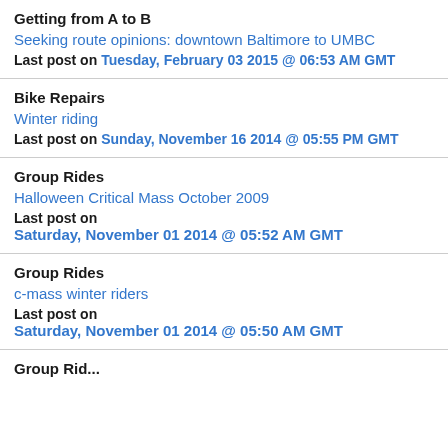Getting from A to B
Seeking route opinions: downtown Baltimore to UMBC
Last post on Tuesday, February 03 2015 @ 06:53 AM GMT
Bike Repairs
Winter riding
Last post on Sunday, November 16 2014 @ 05:55 PM GMT
Group Rides
Halloween Critical Mass October 2009
Last post on Saturday, November 01 2014 @ 05:52 AM GMT
Group Rides
c-mass winter riders
Last post on Saturday, November 01 2014 @ 05:50 AM GMT
Group Rid...